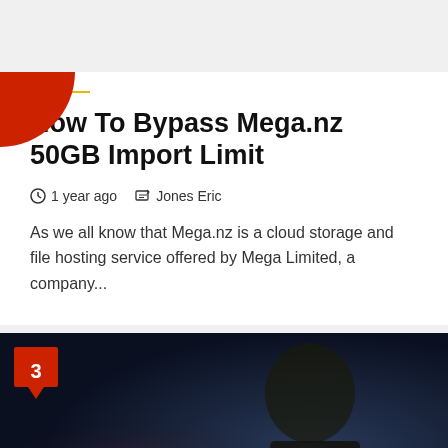How To
How To Bypass Mega.nz 50GB Import Limit
1 year ago   Jones Eric
As we all know that Mega.nz is a cloud storage and file hosting service offered by Mega Limited, a company...
[Figure (photo): Dark image of a person looking at a device with red glow, numbered badge '3' in the top-left corner and a red scroll-to-top button in the bottom-right]